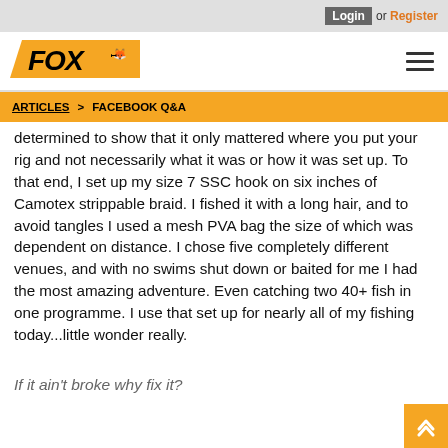Login or Register
[Figure (logo): FOX fishing brand logo in orange parallelogram with fox head mark]
ARTICLES > FACEBOOK Q&A
determined to show that it only mattered where you put your rig and not necessarily what it was or how it was set up. To that end, I set up my size 7 SSC hook on six inches of Camotex strippable braid. I fished it with a long hair, and to avoid tangles I used a mesh PVA bag the size of which was dependent on distance. I chose five completely different venues, and with no swims shut down or baited for me I had the most amazing adventure. Even catching two 40+ fish in one programme. I use that set up for nearly all of my fishing today...little wonder really.
If it ain't broke why fix it?